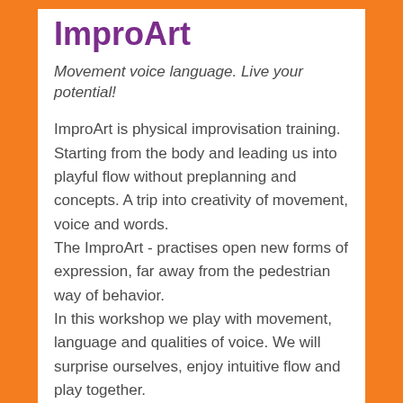ImproArt
Movement voice language. Live your potential!
ImproArt is physical improvisation training. Starting from the body and leading us into playful flow without preplanning and concepts. A trip into creativity of movement, voice and words.
The ImproArt - practises open new forms of expression, far away from the pedestrian way of behavior.
In this workshop we play with movement, language and qualities of voice. We will surprise ourselves, enjoy intuitive flow and play together.
An exiting journey into the unknown and unfolding of original personal expression.